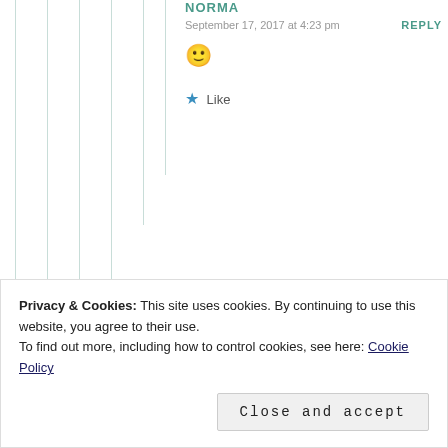NORMA
September 17, 2017 at 4:23 pm
REPLY
[Figure (illustration): Yellow smiley face emoji 🙂]
★ Like
Privacy & Cookies: This site uses cookies. By continuing to use this website, you agree to their use.
To find out more, including how to control cookies, see here: Cookie Policy
Close and accept